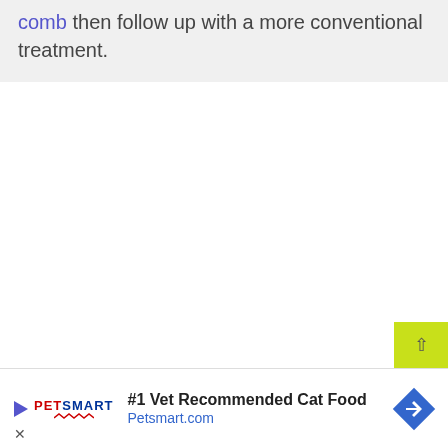comb then follow up with a more conventional treatment.
[Figure (infographic): PetSmart advertisement banner with logo, text '#1 Vet Recommended Cat Food', URL 'Petsmart.com', and a blue diamond-shaped arrow icon.]